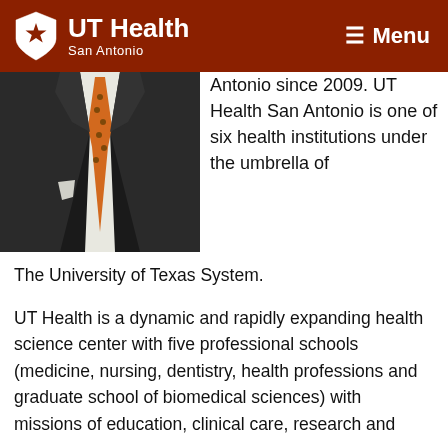UT Health San Antonio — Menu
[Figure (photo): Photo of a man in a dark suit and orange patterned tie, cropped to show torso and tie]
Antonio since 2009. UT Health San Antonio is one of six health institutions under the umbrella of The University of Texas System.
UT Health is a dynamic and rapidly expanding health science center with five professional schools (medicine, nursing, dentistry, health professions and graduate school of biomedical sciences) with missions of education, clinical care, research and